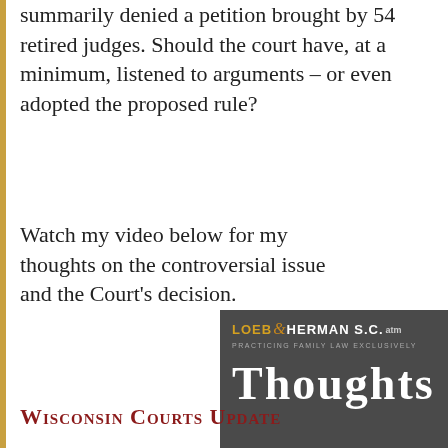summarily denied a petition brought by 54 retired judges. Should the court have, at a minimum, listened to arguments – or even adopted the proposed rule?
Watch my video below for my thoughts on the controversial issue and the Court's decision.
[Figure (screenshot): Video thumbnail showing Loeb & Herman S.C. law firm branding with text 'THOUGHTS' on a dark grey background]
Wisconsin Courts Update